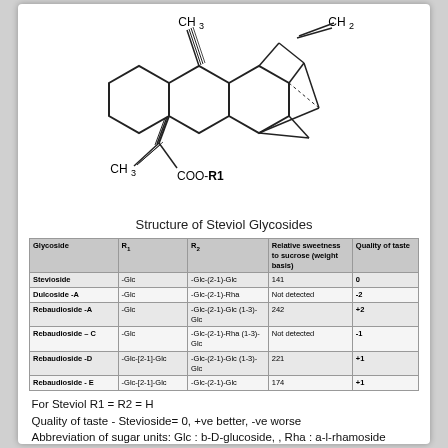[Figure (chemical-structure): Chemical structure diagram of Steviol Glycosides showing a tetracyclic diterpene skeleton with CH3 groups, CH2 group, COO-R1 substituent, and a bridged ring system with stereocenters.]
Structure of Steviol Glycosides
| Glycoside | R1 | R2 | Relative sweetness to sucrose (weight basis) | Quality of taste |
| --- | --- | --- | --- | --- |
| Stevioside | -Glc | -Glc-(2-1)-Glc | 141 | 0 |
| Dulcoside -A | -Glc | -Glc-(2-1)-Rha | Not detected | -2 |
| Rebaudioside -A | -Glc | -Glc-(2-1)-Glc (1-3)-Glc | 242 | +2 |
| Rebaudioside – C | -Glc | -Glc-(2-1)-Rha (1-3)-Glc | Not detected | -1 |
| Rebaudioside -D | -Glc-[2-1]-Glc | -Glc-(2-1)-Glc (1-3)-Glc | 221 | +1 |
| Rebaudioside - E | -Glc-[2-1]-Glc | -Glc-(2-1)-Glc | 174 | +1 |
For Steviol R1 = R2 = H
Quality of taste - Stevioside= 0, +ve better, -ve worse
Abbreviation of sugar units: Glc : b-D-glucoside, , Rha : a-l-rhamoside
In different sensory studies, Stevioside was found to be between 110 and 270 times sweeter than sucrose,